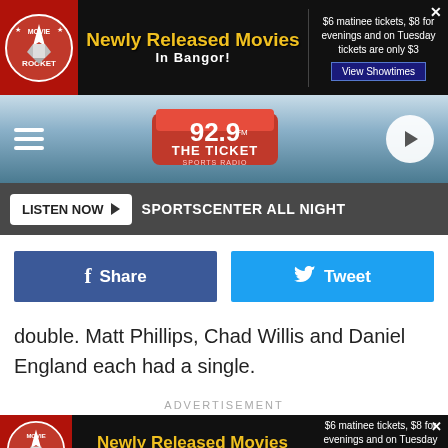[Figure (screenshot): Movie Rocket advertisement banner: Newly Released Movies in Bangor! $6 matinee tickets, $8 for evenings and on Tuesday tickets are only $3. View Showtimes button.]
[Figure (logo): 92.9 FM The Ticket radio station logo with navigation hamburger menu and play button]
LISTEN NOW ▶  SPORTSCENTER ALL NIGHT
[Figure (screenshot): Facebook Share button and Twitter Tweet button]
double. Matt Phillips, Chad Willis and Daniel England each had a single.
ADVERTISEMENT
[Figure (screenshot): Movie Rocket advertisement banner (bottom): Newly Released Movies in Bangor! $6 matinee tickets, $8 for evenings and on Tuesday tickets are only $3. View Showtimes button.]